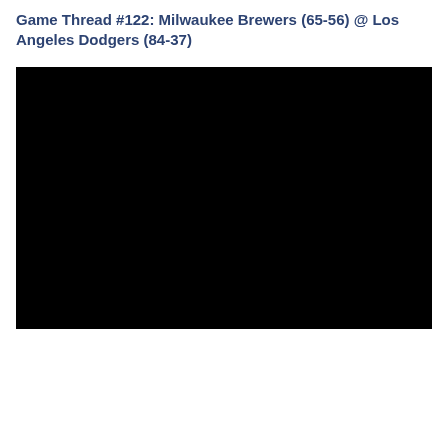Game Thread #122: Milwaukee Brewers (65-56) @ Los Angeles Dodgers (84-37)
[Figure (photo): Black rectangular image block, likely a video embed or image placeholder that rendered as solid black]